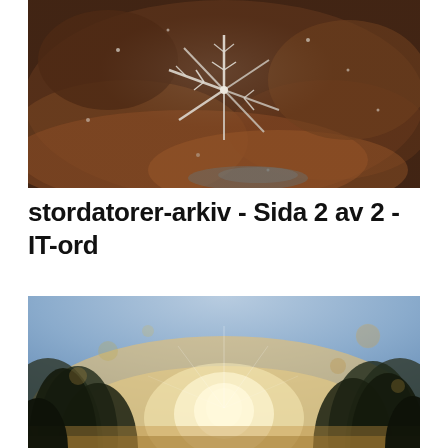[Figure (photo): Close-up photograph of a star-shaped ice crystal formation on dark wet rock surface with reddish-brown tones and scattered white frost particles]
stordatorer-arkiv - Sida 2 av 2 - IT-ord
[Figure (photo): Blurred outdoor photograph of trees silhouetted against a bright sunburst in the center, with warm golden-white light and bokeh effect, blue sky visible at top]